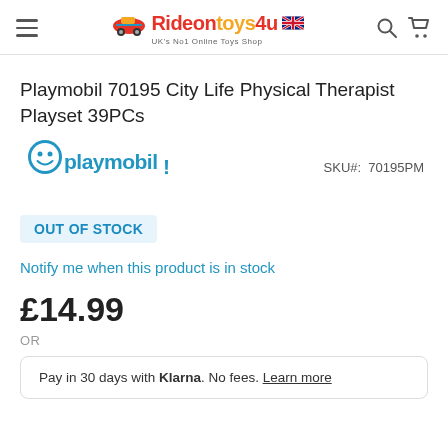Rideontoys4u — UK's No1 Online Toys Shop
Playmobil 70195 City Life Physical Therapist Playset 39PCs
[Figure (logo): Playmobil brand logo in blue with smiley face icon]
SKU#: 70195PM
OUT OF STOCK
Notify me when this product is in stock
£14.99
OR
Pay in 30 days with Klarna. No fees. Learn more